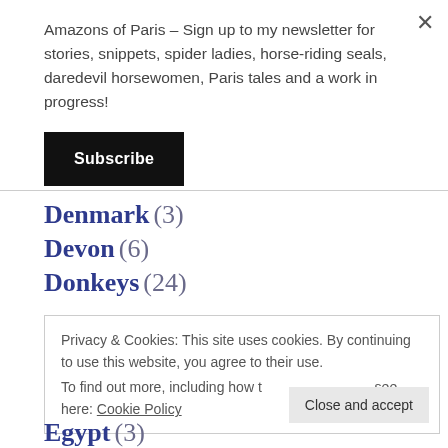× (close button)
Amazons of Paris – Sign up to my newsletter for stories, snippets, spider ladies, horse-riding seals, daredevil horsewomen, Paris tales and a work in progress!
Subscribe
Denmark (3)
Devon (6)
Donkeys (24)
Privacy & Cookies: This site uses cookies. By continuing to use this website, you agree to their use.
To find out more, including how to control cookies, see here: Cookie Policy
Close and accept
Egypt (3)